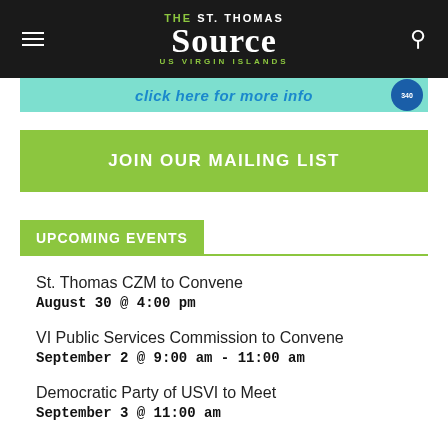THE St. Thomas Source US VIRGIN ISLANDS
[Figure (screenshot): Advertisement banner with cyan background: 'click here for more info' with a blue circular badge]
JOIN OUR MAILING LIST
UPCOMING EVENTS
St. Thomas CZM to Convene
August 30 @ 4:00 pm
VI Public Services Commission to Convene
September 2 @ 9:00 am - 11:00 am
Democratic Party of USVI to Meet
September 3 @ 11:00 am